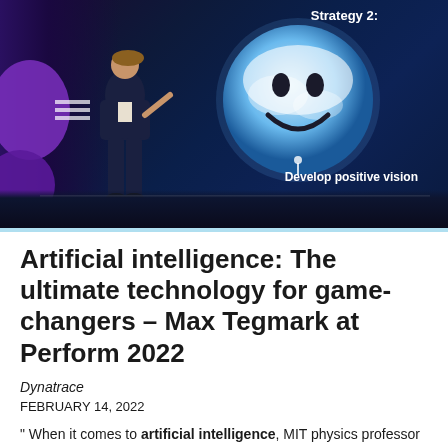[Figure (photo): A speaker standing on a dark stage presenting to an audience. Behind him is a large screen displaying an Earth globe with a smiley face, text reading 'Strategy 2:' at the top right and 'Develop positive vision' at the bottom. The stage has purple lighting elements on the left side.]
Artificial intelligence: The ultimate technology for game-changers – Max Tegmark at Perform 2022
Dynatrace
FEBRUARY 14, 2022
" When it comes to artificial intelligence, MIT physics professor and futurist Max Tegmark thinks in terms of 13.8